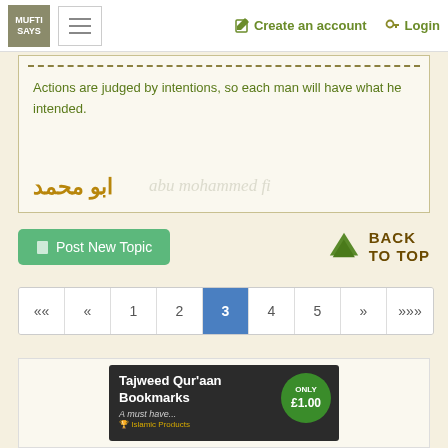MUFTI SAYS | Create an account | Login
Actions are judged by intentions, so each man will have what he intended.
ابو محمد  abu mohammed fi
📄 Post New Topic
BACK TO TOP
«« « 1 2 3 4 5 » »»
[Figure (screenshot): Advertisement banner for Tajweed Qur'aan Bookmarks - A must have... Islamic Products. ONLY £1.00]